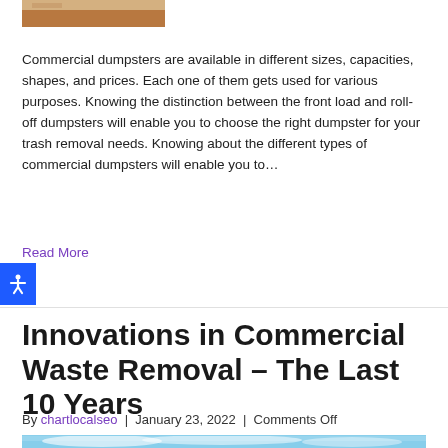[Figure (photo): Partial view of a brown/cardboard colored dumpster or container at the top of the page]
Commercial dumpsters are available in different sizes, capacities, shapes, and prices. Each one of them gets used for various purposes. Knowing the distinction between the front load and roll-off dumpsters will enable you to choose the right dumpster for your trash removal needs. Knowing about the different types of commercial dumpsters will enable you to…
Read More
[Figure (illustration): Blue accessibility icon button with stick figure person with arms outstretched]
Innovations in Commercial Waste Removal – The Last 10 Years
By chartlocalseo | January 23, 2022 | Comments Off
[Figure (photo): Aerial or sky view photo at the bottom of the page, appearing to show clouds and blue sky]